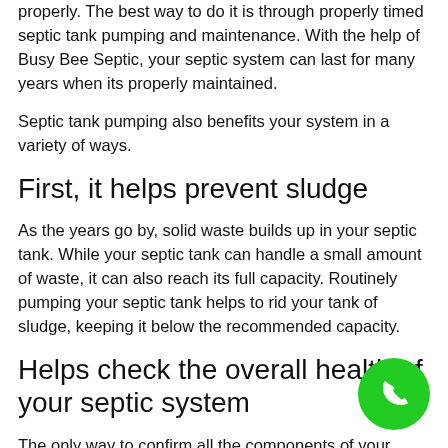properly. The best way to do it is through properly timed septic tank pumping and maintenance. With the help of Busy Bee Septic, your septic system can last for many years when its properly maintained.
Septic tank pumping also benefits your system in a variety of ways.
First, it helps prevent sludge
As the years go by, solid waste builds up in your septic tank. While your septic tank can handle a small amount of waste, it can also reach its full capacity. Routinely pumping your septic tank helps to rid your tank of sludge, keeping it below the recommended capacity.
Helps check the overall health of your septic system
The only way to confirm all the components of your septic
[Figure (illustration): Green circular phone call button in the bottom right corner]